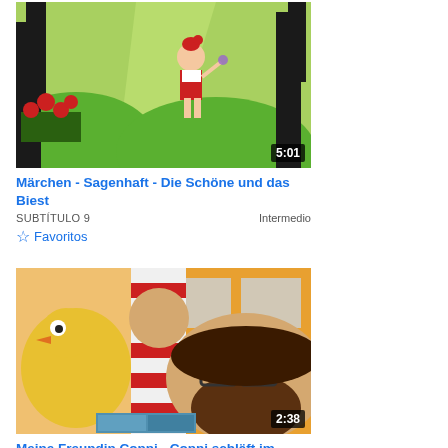[Figure (screenshot): Animated cartoon thumbnail showing a girl in red dress among trees with roses, duration 5:01]
Märchen - Sagenhaft - Die Schöne und das Biest
SUBTÍTULO 9    Intermedio
☆ Favoritos
[Figure (screenshot): Animated cartoon thumbnail showing cartoon animal characters including a bird and a man with glasses, duration 2:38]
Meine Freundin Conni - Conni schläft im Kindergarten Parte 3
SUBTÍTULO 18    Intermedio
★ Seleccionado